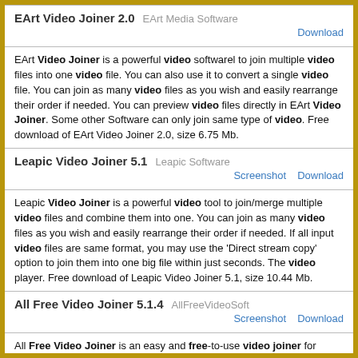EArt Video Joiner 2.0   EArt Media Software
EArt Video Joiner is a powerful video softwarel to join multiple video files into one video file. You can also use it to convert a single video file. You can join as many video files as you wish and easily rearrange their order if needed. You can preview video files directly in EArt Video Joiner. Some other Software can only join same type of video. Free download of EArt Video Joiner 2.0, size 6.75 Mb.
Leapic Video Joiner 5.1   Leapic Software
Leapic Video Joiner is a powerful video tool to join/merge multiple video files and combine them into one. You can join as many video files as you wish and easily rearrange their order if needed. If all input video files are same format, you may use the 'Direct stream copy' option to join them into one big file within just seconds. The video player. Free download of Leapic Video Joiner 5.1, size 10.44 Mb.
All Free Video Joiner 5.1.4   AllFreeVideoSoft
All Free Video Joiner is an easy and free-to-use video joiner for novices and professionals. There are several video formats presets provided for improving your joined files. You can join or merge multiple video files into a large one (AVI, MP4, FLV, WMV, etc.) without any quality loss. It can also be used to convert a single file. With super fast. Freeware download of All Free Video Joiner 5.1.4, size 6.87 Mb.